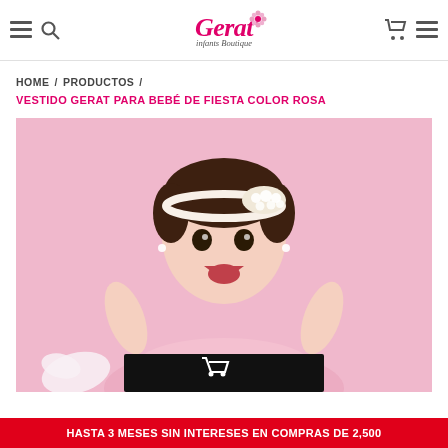Gerat Infants Boutique — navigation header
HOME / PRODUCTOS / VESTIDO GERAT PARA BEBÉ DE FIESTA COLOR ROSA
VESTIDO GERAT PARA BEBÉ DE FIESTA COLOR ROSA
[Figure (photo): Baby girl wearing a pink party dress and pearl headband, smiling with arms raised, on a pink background]
HASTA 3 MESES SIN INTERESES EN COMPRAS DE 2,500